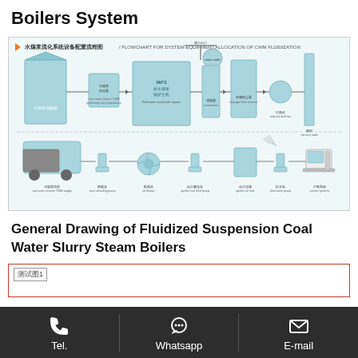Boilers System
[Figure (flowchart): Flowchart for System Equipment Allocation of CWM Fluidization. Shows water coal slurry system components including storage tanks, pumps, boiler, fans, dust collectors, chimney, and control systems connected by flow arrows. Chinese title: 水煤浆流化系统设备配置流程图. Components labeled: 水煤浆储藏罐(storage), 水煤浆粒化器(Coal water mixture CWM pelletizing slurry impedance), MIFS标水煤浆锅炉主机(Fluid water slurry boiler system), 省煤器(economizer), 布袋除尘器(bag-type dust remover), 引风机(induced draft fan), 烟囱(chimney), 水煤浆供应(coal water mixture CWM supply), 卸煤泵(auto unloading pump), 鼓风机(air blower), 点火燃油泵(ignition fuel feed pump), 点火油箱(ignition oil tank), 给水泵(feed water pump), 控制系统(control systems), 供氧器(economizer), 蒸汽出口(steam outlet)]
General Drawing of Fluidized Suspension Coal Water Slurry Steam Boilers
[Figure (schematic): Partially visible technical drawing at bottom of page with red border, showing a schematic labeled 测试图1]
Tel.   Whatsapp   E-mail